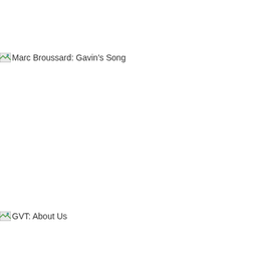Marc Broussard: Gavin's Song
GVT: About Us